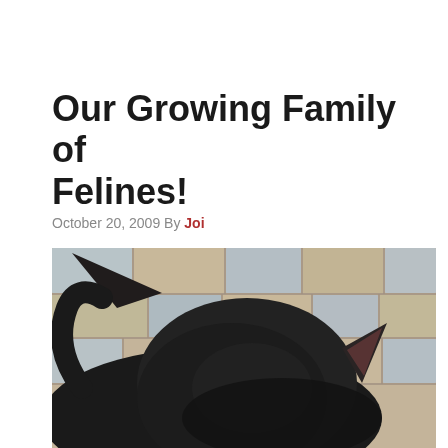Our Growing Family of Felines!
October 20, 2009 By Joi
[Figure (photo): Close-up photo of a black cat viewed from above, showing its head and ears curled down, resting on a decorative stone/brick paved surface in warm tan and blue-grey tones.]